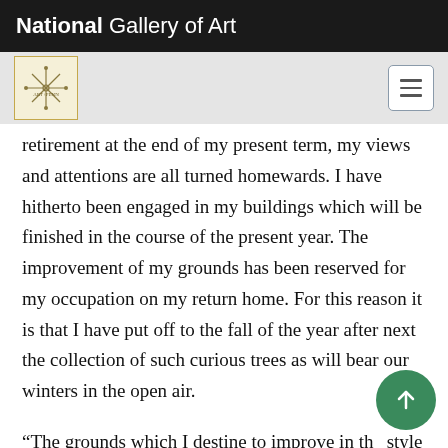National Gallery of Art
retirement at the end of my present term, my views and attentions are all turned homewards. I have hitherto been engaged in my buildings which will be finished in the course of the present year. The improvement of my grounds has been reserved for my occupation on my return home. For this reason it is that I have put off to the fall of the year after next the collection of such curious trees as will bear our winters in the open air.
“The grounds which I destine to improve in the style of the English gardens are in a form very difficult to be managed. They compose the northern